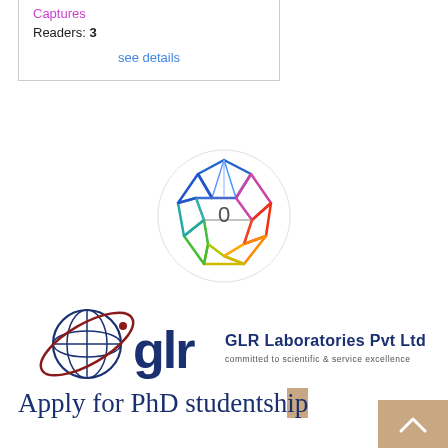Captures
Readers: 3
see details
[Figure (logo): Altmetric donut badge showing score 0, rainbow-colored icosahedron shape on white circular background]
[Figure (logo): GLR Laboratories Pvt Ltd logo with globe and orbit graphic, dark blue 'glr' text and company name, tagline: committed to scientific & service excellence]
Apply for PhD studentship